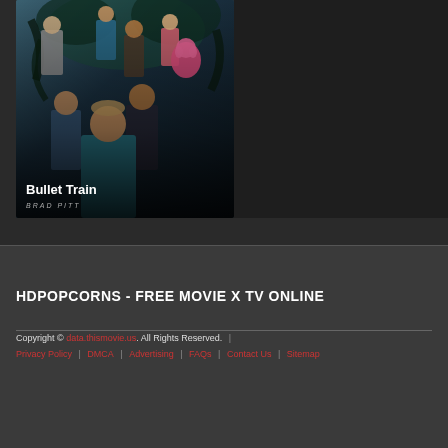[Figure (photo): Movie poster for Bullet Train featuring Brad Pitt and ensemble cast, with text 'Bullet Train' and 'BRAD PITT' overlaid at the bottom]
[Figure (photo): Dark placeholder area to the right of the movie card]
HDPOPCORNS - FREE MOVIE X TV ONLINE
Copyright © data.thismovie.us. All Rights Reserved.
Privacy Policy | DMCA | Advertising | FAQs | Contact Us | Sitemap